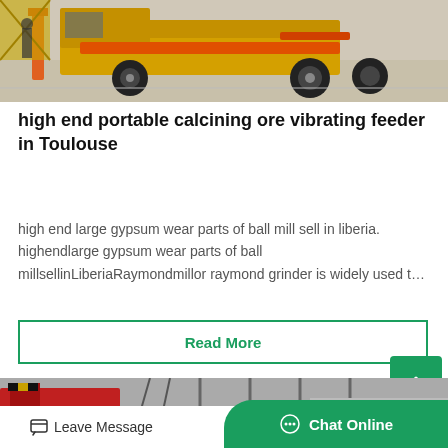[Figure (photo): Industrial equipment - yellow and orange machinery/vehicle on a warehouse floor, with orange conveyor/frame structures and large tires visible]
high end portable calcining ore vibrating feeder in Toulouse
high end large gypsum wear parts of ball mill sell in liberia. highendlarge gypsum wear parts of ball millsellinLiberiaRaymondmillor raymond grinder is widely used t…
Read More
[Figure (photo): Industrial facility interior showing red overhead crane/equipment and structural steel elements]
Leave Message
Chat Online